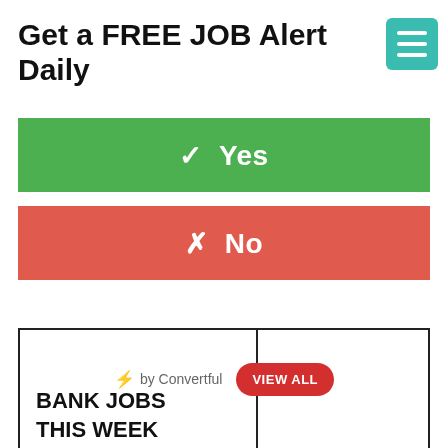Get a FREE JOB Alert Daily
[Figure (screenshot): Teal/green hamburger menu button with three white horizontal lines]
✓ Yes
✗ No
BANK JOBS THIS WEEK
[Figure (screenshot): Convertful branding overlay with lightning bolt icon, 'by Convertful' text, and red 'VIEW ALL' pill button]